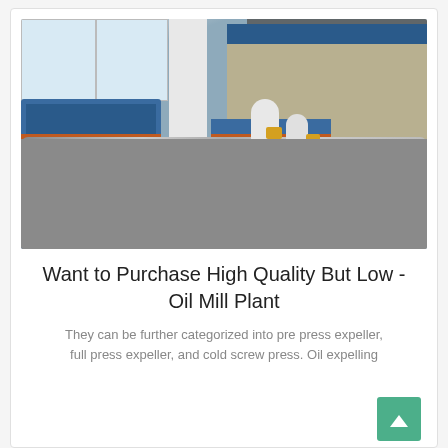[Figure (photo): Aerial/overhead view of an industrial oil mill plant interior showing blue machinery, horizontal silver pipes, white support pillars, a filter press with stacked white blocks, and white cylindrical tanks on an orange/red base. Industrial facility with windows visible in upper left.]
Want to Purchase High Quality But Low - Oil Mill Plant
They can be further categorized into pre press expeller, full press expeller, and cold screw press. Oil expelling